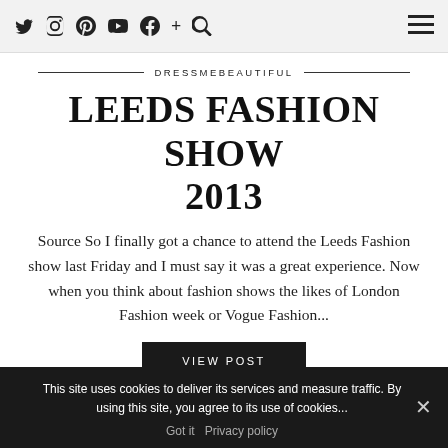Twitter Instagram Pinterest YouTube Facebook + Search | Menu
DRESSMEBEAUTIFUL
LEEDS FASHION SHOW 2013
Source So I finally got a chance to attend the Leeds Fashion show last Friday and I must say it was a great experience. Now when you think about fashion shows the likes of London Fashion week or Vogue Fashion...
VIEW POST
0 COMMENTS
This site uses cookies to deliver its services and measure traffic. By using this site, you agree to its use of cookies...
Got it   Privacy policy